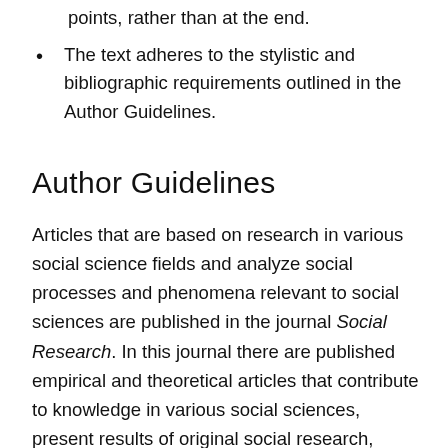points, rather than at the end.
The text adheres to the stylistic and bibliographic requirements outlined in the Author Guidelines.
Author Guidelines
Articles that are based on research in various social science fields and analyze social processes and phenomena relevant to social sciences are published in the journal Social Research. In this journal there are published empirical and theoretical articles that contribute to knowledge in various social sciences, present results of original social research, expand and deepen the understanding of objects of various social sciences.